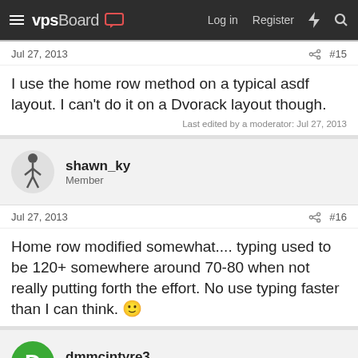vpsBoard | Log in | Register
Jul 27, 2013 #15
I use the home row method on a typical asdf layout. I can't do it on a Dvorack layout though.
Last edited by a moderator: Jul 27, 2013
shawn_ky Member
Jul 27, 2013 #16
Home row modified somewhat.... typing used to be 120+ somewhere around 70-80 when not really putting forth the effort. No use typing faster than I can think. 🙂
dmmcintyre3 New Member